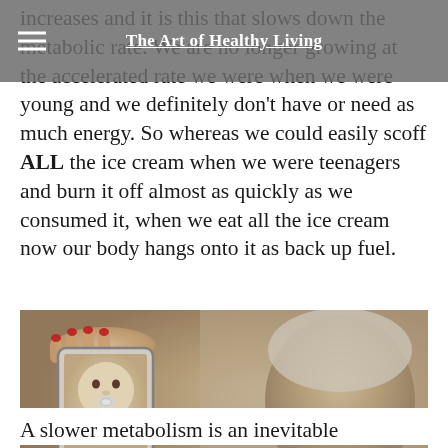The Art of Healthy Living
increases and it is this that slows down the metabolic rate. We are no longer growing at the accelerated rate we were when we were young and we definitely don't have or need as much energy. So whereas we could easily scoff ALL the ice cream when we were teenagers and burn it off almost as quickly as we consumed it, when we eat all the ice cream now our body hangs onto it as back up fuel.
[Figure (photo): Sepia-toned photo of an elderly woman smiling in the background, while a pair of hands with red nail polish hold up a smartphone showing a photo of a baby eating.]
A slower metabolism is an inevitable consequence of the ageing process.